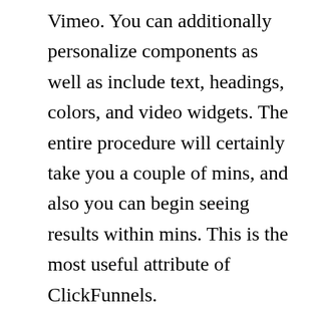Vimeo. You can additionally personalize components as well as include text, headings, colors, and video widgets. The entire procedure will certainly take you a couple of mins, and also you can begin seeing results within mins. This is the most useful attribute of ClickFunnels.
Aside from this, ClickFunnels also provides a shopping cart. It integrates with existing buying cart software as well as can be used in combination with PayPal as well as Stripe. You can likewise integrate your shopping cart with ClickFunnels to accept payments.